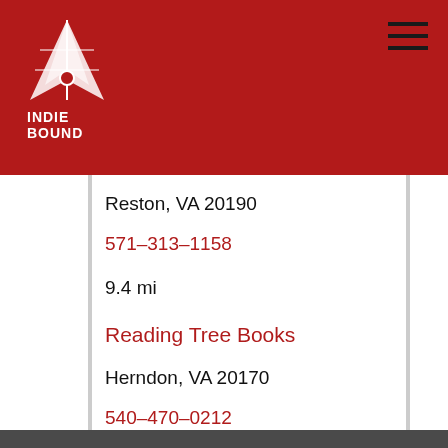IndieBound logo and navigation header
Reston, VA 20190
571-313-1158
9.4 mi
Reading Tree Books
Herndon, VA 20170
540-470-0212
IndieBound.Org Uses Cookies To Enhance Your Experience On Our Site, Analyze Site Usage, And Assist In Our Marketing Efforts. By Clicking Accept, You Agree To The Storing Of Cookies On Your Device. View Our Cookie Policy.
Give me more info
Accept all Cookies